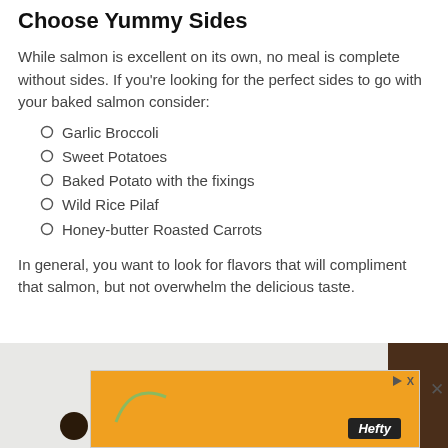Choose Yummy Sides
While salmon is excellent on its own, no meal is complete without sides. If you're looking for the perfect sides to go with your baked salmon consider:
Garlic Broccoli
Sweet Potatoes
Baked Potato with the fixings
Wild Rice Pilaf
Honey-butter Roasted Carrots
In general, you want to look for flavors that will compliment that salmon, but not overwhelm the delicious taste.
[Figure (photo): Partial photo of food dish with herbs visible, overlaid with an orange Hefty advertisement banner]